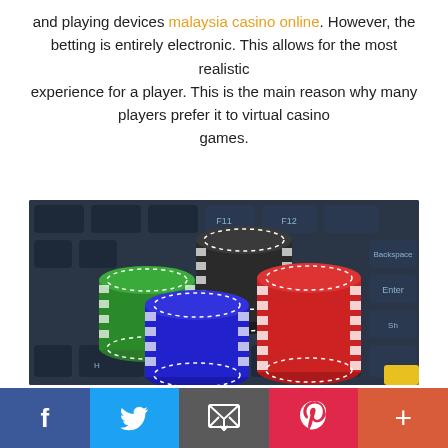and playing devices malaysia casino online. However, the betting is entirely electronic. This allows for the most realistic experience for a player. This is the main reason why many players prefer it to virtual casino games.
[Figure (photo): Casino poker chips stacked on a laptop keyboard - green, black/white, blue, and red/white chips arranged in stacks on dark keyboard keys]
Social share bar: Facebook, Twitter, Email, Pinterest, More